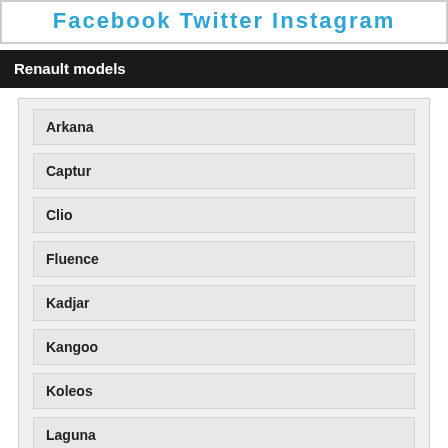Facebook  Twitter  Instagram
Renault models
Arkana
Captur
Clio
Fluence
Kadjar
Kangoo
Koleos
Laguna
Latitude
Master
Megane